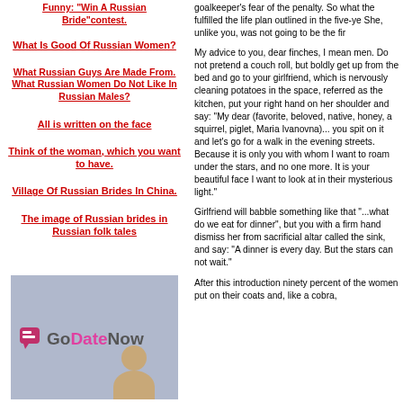Funny: "Win A Russian Bride"contest.
What Is Good Of Russian Women?
What Russian Guys Are Made From. What Russian Women Do Not Like In Russian Males?
All is written on the face
Think of the woman, which you want to have.
Village Of Russian Brides In China.
The image of Russian brides in Russian folk tales
[Figure (logo): GoDDateNow logo with speech bubble icon on blue-grey background with partial person silhouette]
goalkeeper's fear of the penalty. So what the fulfilled the life plan outlined in the five-ye She, unlike you, was not going to be the fir
My advice to you, dear finches, I mean men. Do not pretend a couch roll, but boldly get up from the bed and go to your girlfriend, which is nervously cleaning potatoes in the space, referred as the kitchen, put your right hand on her shoulder and say: "My dear (favorite, beloved, native, honey, a squirrel, piglet, Maria Ivanovna)... you spit on it and let's go for a walk in the evening streets. Because it is only you with whom I want to roam under the stars, and no one more. It is your beautiful face I want to look at in their mysterious light."
Girlfriend will babble something like that "...what do we eat for dinner", but you with a firm hand dismiss her from sacrificial altar called the sink, and say: "A dinner is every day. But the stars can not wait."
After this introduction ninety percent of the women put on their coats and, like a cobra,